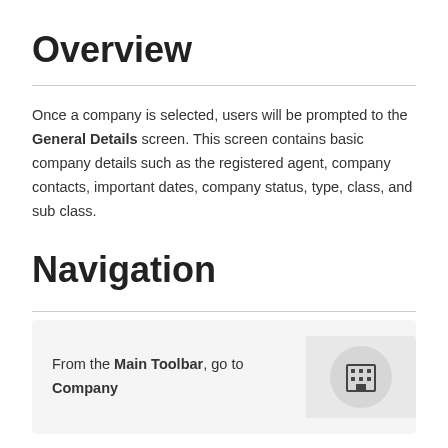Overview
Once a company is selected, users will be prompted to the General Details screen. This screen contains basic company details such as the registered agent, company contacts, important dates, company status, type, class, and sub class.
Navigation
From the Main Toolbar, go to Company